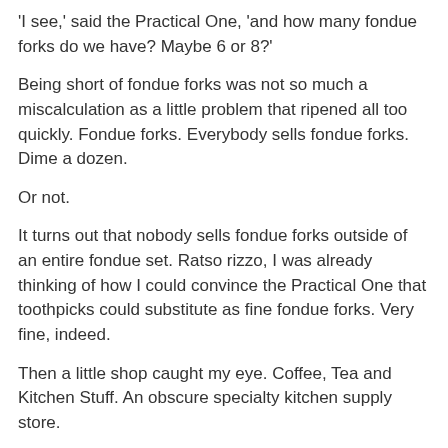'I see,' said the Practical One, 'and how many fondue forks do we have? Maybe 6 or 8?'
Being short of fondue forks was not so much a miscalculation as a little problem that ripened all too quickly. Fondue forks. Everybody sells fondue forks. Dime a dozen.
Or not.
It turns out that nobody sells fondue forks outside of an entire fondue set. Ratso rizzo, I was already thinking of how I could convince the Practical One that toothpicks could substitute as fine fondue forks. Very fine, indeed.
Then a little shop caught my eye. Coffee, Tea and Kitchen Stuff. An obscure specialty kitchen supply store.
I pulled in.
Entering the store I was greeted by a tall, bearded man wearing a chef's apron and sporting a name tag that read:
Wolf...